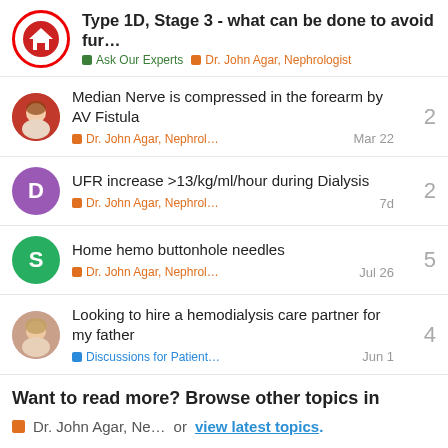Type 1D, Stage 3 - what can be done to avoid fur... | Ask Our Experts | Dr. John Agar, Nephrologist
Median Nerve is compressed in the forearm by AV Fistula | Dr. John Agar, Nephrol... | Mar 22 | replies: 2
UFR increase >13/kg/ml/hour during Dialysis | Dr. John Agar, Nephrol... | 7d | replies: 2
Home hemo buttonhole needles | Dr. John Agar, Nephrol... | Jul 26 | replies: 5
Looking to hire a hemodialysis care partner for my father | Discussions for Patient... | Jun 1 | replies: 4
Want to read more? Browse other topics in Dr. John Agar, Ne... or view latest topics.